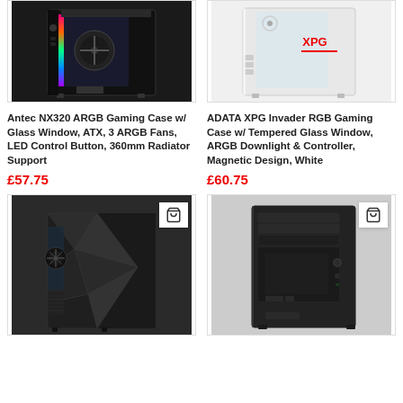[Figure (photo): Antec NX320 ARGB gaming PC case with RGB lighting and glass window, black, front view]
[Figure (photo): ADATA XPG Invader RGB gaming PC case with tempered glass window, white/silver, side view]
Antec NX320 ARGB Gaming Case w/ Glass Window, ATX, 3 ARGB Fans, LED Control Button, 360mm Radiator Support
£57.75
ADATA XPG Invader RGB Gaming Case w/ Tempered Glass Window, ARGB Downlight & Controller, Magnetic Design, White
£60.75
[Figure (photo): Dark angular faceted gaming PC case with side window showing fan, black]
[Figure (photo): Traditional black tower PC case, front view, no window]